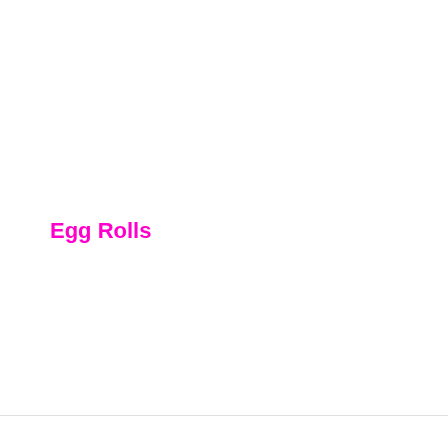Egg Rolls
Hash Browns
Mini Pizza